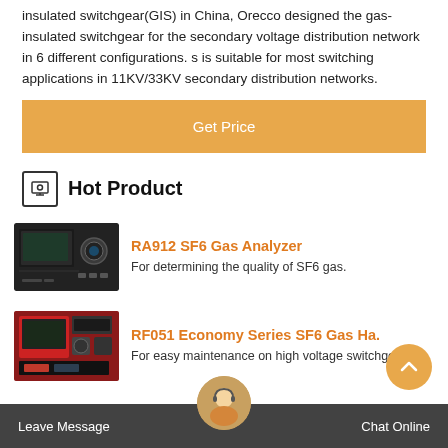insulated switchgear(GIS) in China, Orecco designed the gas-insulated switchgear for the secondary voltage distribution network in 6 different configurations. s is suitable for most switching applications in 11KV/33KV secondary distribution networks.
Get Price
Hot Product
RA912 SF6 Gas Analyzer
For determining the quality of SF6 gas.
[Figure (photo): RA912 SF6 Gas Analyzer device, a black rack-mounted instrument with display and circular port]
RF051 Economy Series SF6 Gas Ha.
For easy maintenance on high voltage switchgear.
[Figure (photo): RF051 Economy Series SF6 Gas Handling unit, red/black portable device]
Leave Message
Chat Online